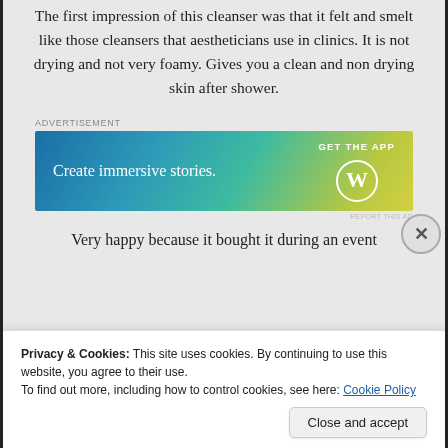The first impression of this cleanser was that it felt and smelt like those cleansers that aestheticians use in clinics. It is not drying and not very foamy. Gives you a clean and non drying skin after shower.
[Figure (screenshot): WordPress advertisement banner with gradient background (blue to green-yellow). Text reads 'Create immersive stories.' with 'GET THE APP' and WordPress logo on the right.]
Very happy because it bought it during an event
Privacy & Cookies: This site uses cookies. By continuing to use this website, you agree to their use.
To find out more, including how to control cookies, see here: Cookie Policy
Close and accept